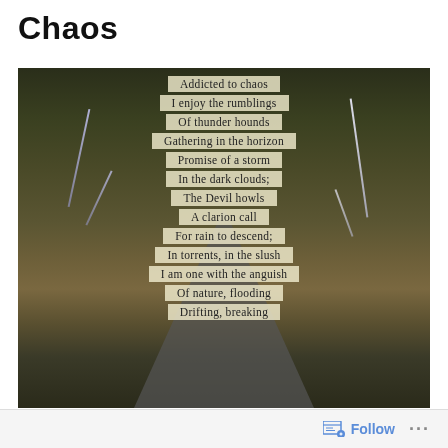Chaos
[Figure (photo): A stormy landscape with a road stretching into the horizon under dark storm clouds with lightning bolts, overlaid with poem text lines on semi-transparent cream/beige backgrounds. Poem lines read: Addicted to chaos / I enjoy the rumblings / Of thunder hounds / Gathering in the horizon / Promise of a storm / In the dark clouds; / The Devil howls / A clarion call / For rain to descend; / In torrents, in the slush / I am one with the anguish / Of nature, flooding / Drifting, breaking]
Follow ...